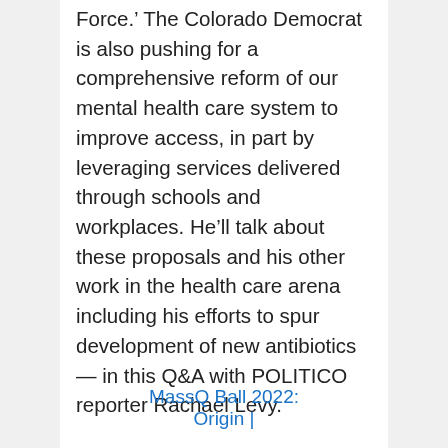Force.' The Colorado Democrat is also pushing for a comprehensive reform of our mental health care system to improve access, in part by leveraging services delivered through schools and workplaces. He'll talk about these proposals and his other work in the health care arena including his efforts to spur development of new antibiotics — in this Q&A with POLITICO reporter Rachael Levy.
...
MassQ Ball 2022: Origin |